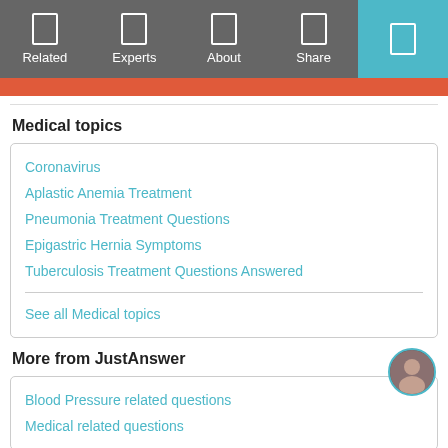Related | Experts | About | Share
Medical topics
Coronavirus
Aplastic Anemia Treatment
Pneumonia Treatment Questions
Epigastric Hernia Symptoms
Tuberculosis Treatment Questions Answered
See all Medical topics
More from JustAnswer
Blood Pressure related questions
Medical related questions